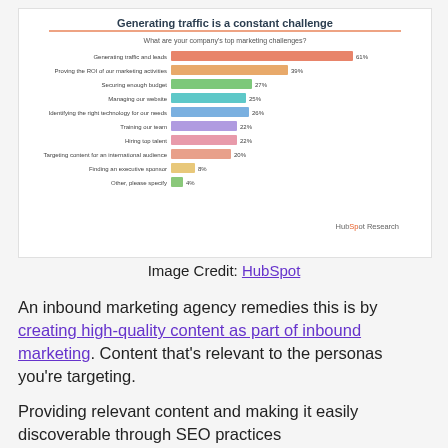[Figure (bar-chart): Generating traffic is a constant challenge]
Image Credit: HubSpot
An inbound marketing agency remedies this is by creating high-quality content as part of inbound marketing. Content that's relevant to the personas you're targeting.
Providing relevant content and making it easily discoverable through SEO practices